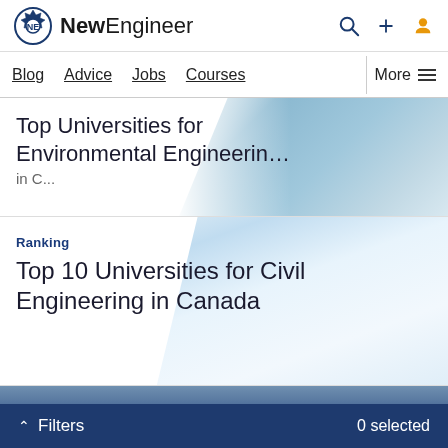NewEngineer
Blog  Advice  Jobs  Courses  More
Top Universities for Environmental Engineerin…
Ranking
Top 10 Universities for Civil Engineering in Canada
[Figure (photo): Partial city skyline photo at bottom of page]
^ Filters   0 selected